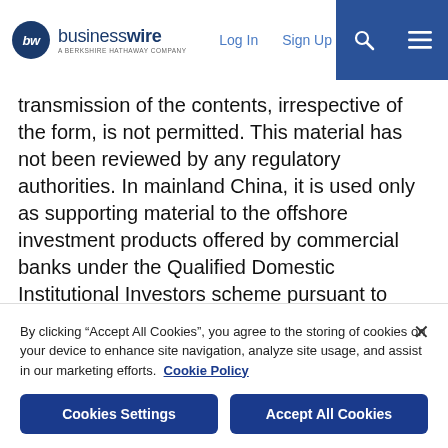businesswire - A Berkshire Hathaway Company | Log In | Sign Up
transmission of the contents, irrespective of the form, is not permitted. This material has not been reviewed by any regulatory authorities. In mainland China, it is used only as supporting material to the offshore investment products offered by commercial banks under the Qualified Domestic Institutional Investors scheme pursuant to applicable rules and regulations. This material is being distributed by the following Allianz Global Investors companies: Allianz Global Investors U.S. LLC, an investment adviser registered with the U.S. Securities and Exchange Commission (SEC); Allianz Global Investors GmbH, an investment company in Germany, authorized by the German Bundesanstalt für
By clicking “Accept All Cookies”, you agree to the storing of cookies on your device to enhance site navigation, analyze site usage, and assist in our marketing efforts. Cookie Policy
Cookies Settings
Accept All Cookies